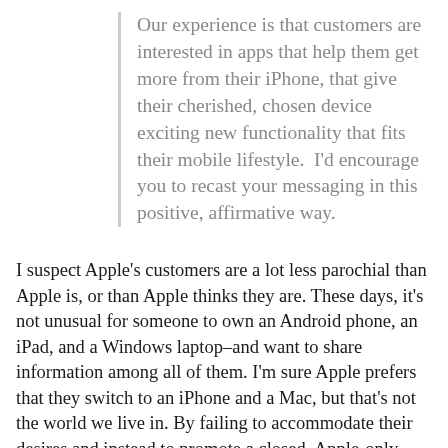Our experience is that customers are interested in apps that help them get more from their iPhone, that give their cherished, chosen device exciting new functionality that fits their mobile lifestyle.  I'd encourage you to recast your messaging in this positive, affirmative way.
I suspect Apple's customers are a lot less parochial than Apple is, or than Apple thinks they are. These days, it's not unusual for someone to own an Android phone, an iPad, and a Windows laptop–and want to share information among all of them. I'm sure Apple prefers that they switch to an iPhone and a Mac, but that's not the world we live in. By failing to accommodate their desires and instead to promote a closed, Apple-only ecosystem, Apple could be building big trouble for itself.